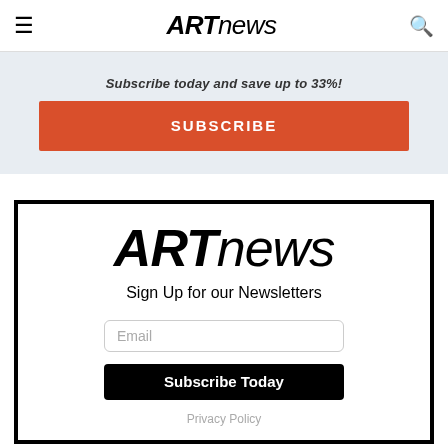ARTnews
Subscribe today and save up to 33%!
SUBSCRIBE
[Figure (logo): ARTnews logo large black bold italic text]
Sign Up for our Newsletters
Email
Subscribe Today
Privacy Policy